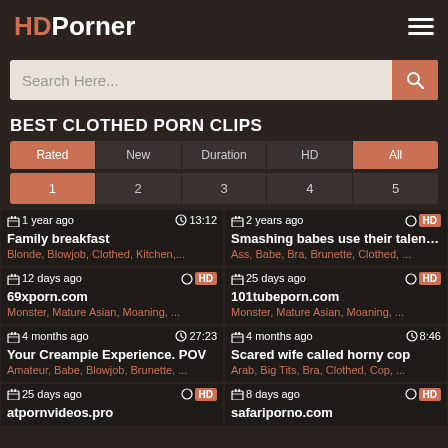HDPorner
Search Here...
BEST CLOTHED PORN CLIPS
Rated | New | Duration | HD | All
1 | 2 | 3 | 4 | 5
1 year ago | 13:12 | Family breakfast | Blonde, Blowjob, Clothed, Kitchen,...
2 years ago | HD | Smashing babes use their talent be r... | Ass, Babe, Bra, Brunette, Clothed, ...
12 days ago | HD | 69xporn.com | Monster, Mature Asian, Moaning, ...
25 days ago | HD | 101tubeporn.com | Monster, Mature Asian, Moaning, ...
4 months ago | 27:23 | Your Creampie Experience. POV | Amateur, Babe, Blowjob, Brunette, ...
4 months ago | 8:46 | Scared wife called horny cop | Arab, Big Tits, Bra, Clothed, Cop, ...
25 days ago | HD | atpornvideos.pro
8 days ago | HD | safariporno.com